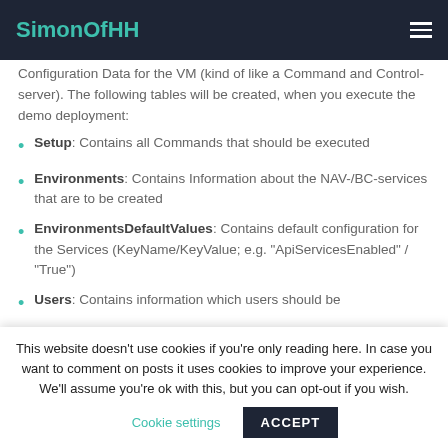SimonOfHH
Configuration Data for the VM (kind of like a Command and Control-server). The following tables will be created, when you execute the demo deployment:
Setup: Contains all Commands that should be executed
Environments: Contains Information about the NAV-/BC-services that are to be created
EnvironmentsDefaultValues: Contains default configuration for the Services (KeyName/KeyValue; e.g. "ApiServicesEnabled" / "True")
Users: Contains information which users should be
This website doesn't use cookies if you're only reading here. In case you want to comment on posts it uses cookies to improve your experience. We'll assume you're ok with this, but you can opt-out if you wish.  Cookie settings  ACCEPT